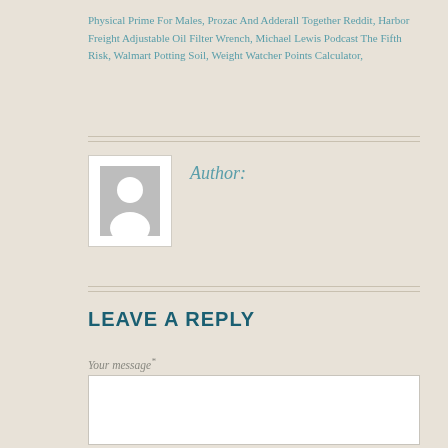Physical Prime For Males, Prozac And Adderall Together Reddit, Harbor Freight Adjustable Oil Filter Wrench, Michael Lewis Podcast The Fifth Risk, Walmart Potting Soil, Weight Watcher Points Calculator,
Author:
[Figure (illustration): Generic user avatar placeholder image showing a grey silhouette of a person on white background]
LEAVE A REPLY
Your message*